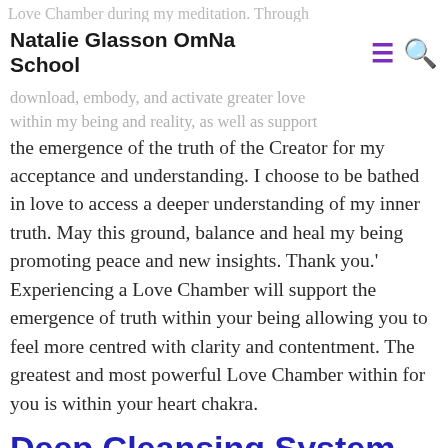Natalie Glasson OmNa School
Love Chamber during my meditation. Through Chamber wish to download, embody, and activate greater love within my being and reality, as well as support the emergence of the truth of the Creator for my acceptance and understanding. I choose to be bathed in love to access a deeper understanding of my inner truth. May this ground, balance and heal my being promoting peace and new insights. Thank you.' Experiencing a Love Chamber will support the emergence of truth within your being allowing you to feel more centred with clarity and contentment. The greatest and most powerful Love Chamber within for you is within your heart chakra.
Deep Cleansing System
Within the Universe of the Creator, there are